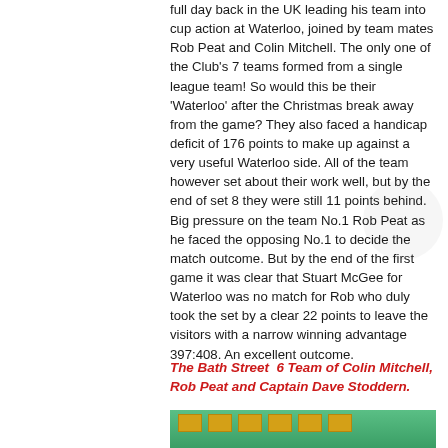full day back in the UK leading his team into cup action at Waterloo, joined by team mates Rob Peat and Colin Mitchell. The only one of the Club's 7 teams formed from a single league team! So would this be their 'Waterloo' after the Christmas break away from the game? They also faced a handicap deficit of 176 points to make up against a very useful Waterloo side. All of the team however set about their work well, but by the end of set 8 they were still 11 points behind. Big pressure on the team No.1 Rob Peat as he faced the opposing No.1 to decide the match outcome. But by the end of the first game it was clear that Stuart McGee for Waterloo was no match for Rob who duly took the set by a clear 22 points to leave the visitors with a narrow winning advantage 397:408. An excellent outcome.
The Bath Street  6 Team of Colin Mitchell, Rob Peat and Captain Dave Stoddern.
[Figure (photo): A group photo of people in front of a green wall with framed pictures]